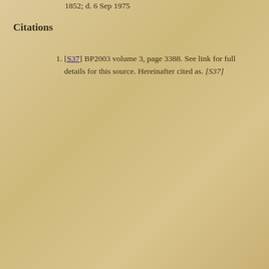1852; d. 6 Sep 1975
Citations
[S37] BP2003 volume 3, page 3388. See link for full details for this source. Hereinafter cited as. [S37]